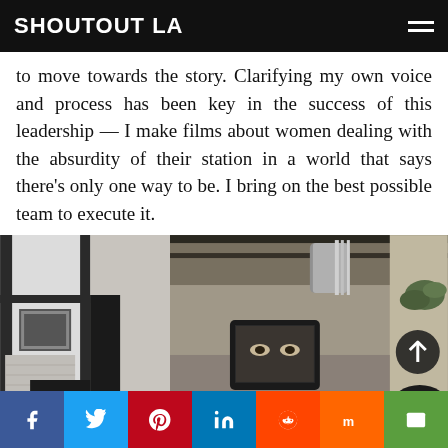SHOUTOUT LA
to move towards the story. Clarifying my own voice and process has been key in the success of this leadership — I make films about women dealing with the absurdity of their station in a world that says there's only one way to be. I bring on the best possible team to execute it.
[Figure (photo): Two side-by-side photos: left shows a person with dark hair from behind in an indoor setting with white walls and framed picture; right shows a room with metal ductwork ceiling, greenery, and a tablet/monitor screen reflecting a person's face.]
Social share bar: Facebook, Twitter, Pinterest, LinkedIn, Reddit, Mix, Email